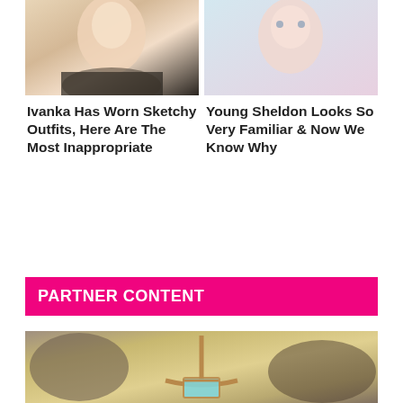[Figure (photo): Photo of a blonde woman smiling (Ivanka), cropped at shoulders, against white background]
[Figure (photo): Photo of a young boy (Young Sheldon actor), looking at camera with a slight expression, colorful background]
Ivanka Has Worn Sketchy Outfits, Here Are The Most Inappropriate
Young Sheldon Looks So Very Familiar & Now We Know Why
PARTNER CONTENT
[Figure (photo): Partial image of what appears to be a dirty or stained surface with a clothes hanger graphic overlay]